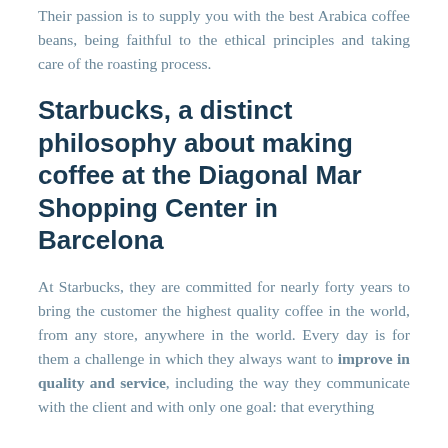Their passion is to supply you with the best Arabica coffee beans, being faithful to the ethical principles and taking care of the roasting process.
Starbucks, a distinct philosophy about making coffee at the Diagonal Mar Shopping Center in Barcelona
At Starbucks, they are committed for nearly forty years to bring the customer the highest quality coffee in the world, from any store, anywhere in the world. Every day is for them a challenge in which they always want to improve in quality and service, including the way they communicate with the client and with only one goal: that everything